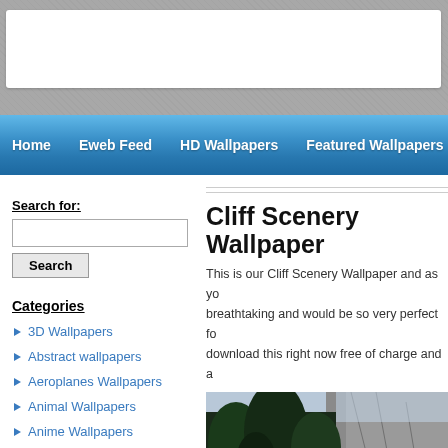[Figure (screenshot): Website header with textured gray background and white search bar area]
Home   Eweb Feed   HD Wallpapers   Featured Wallpapers   Sitemap
Search for:
Search
Categories
3D Wallpapers
Abstract wallpapers
Aeroplanes Wallpapers
Animal Wallpapers
Anime Wallpapers
Cliff Scenery Wallpaper
This is our Cliff Scenery Wallpaper and as yo... breathtaking and would be so very perfect fo... download this right now free of charge and a...
[Figure (photo): Cliff scenery photo showing trees and rocky cliff face with sky]